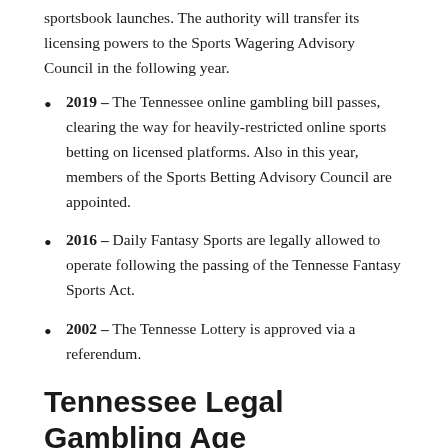sportsbook launches. The authority will transfer its licensing powers to the Sports Wagering Advisory Council in the following year.
2019 – The Tennessee online gambling bill passes, clearing the way for heavily-restricted online sports betting on licensed platforms. Also in this year, members of the Sports Betting Advisory Council are appointed.
2016 – Daily Fantasy Sports are legally allowed to operate following the passing of the Tennesse Fantasy Sports Act.
2002 – The Tennesse Lottery is approved via a referendum.
Tennessee Legal Gambling Age
The Tennessee gambling age for betting...